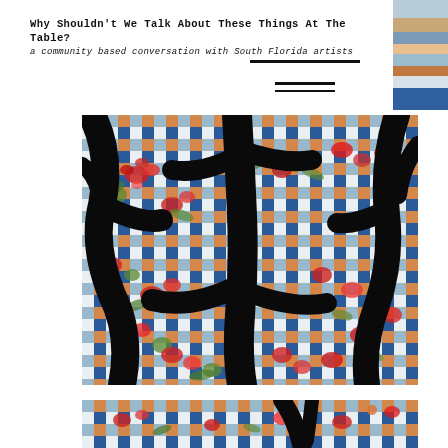Why Shouldn't We Talk About These Things At The Table?
a community based conversation with South Florida artists
[Figure (photo): Top painting: abstract artwork with bold black brushstrokes over a woven/quilted background pattern of blue and orange squares, overlaid with painted red flowers and green leaves. The black strokes form an expressive figure-like shape.]
[Figure (photo): Bottom painting (partially visible): similar artwork with checkered blue and orange squares, red flowers and black vertical strokes, cropped at bottom of page.]